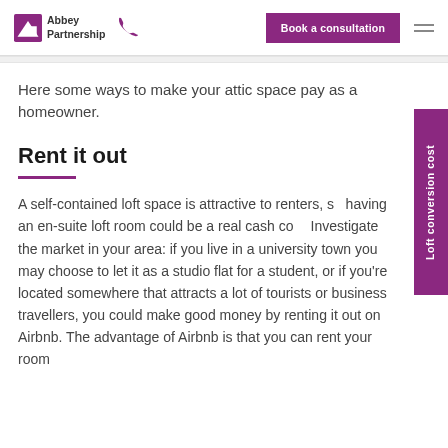Abbey Partnership | Book a consultation
Here some ways to make your attic space pay as a homeowner.
Rent it out
A self-contained loft space is attractive to renters, so having an en-suite loft room could be a real cash co... Investigate the market in your area: if you live in a university town you may choose to let it as a studio flat for a student, or if you're located somewhere that attracts a lot of tourists or business travellers, you could make good money by renting it out on Airbnb. The advantage of Airbnb is that you can rent your room